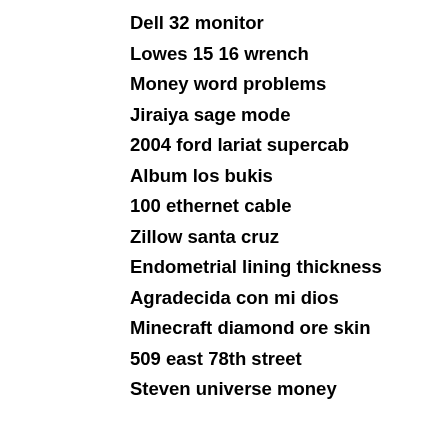Dell 32 monitor
Lowes 15 16 wrench
Money word problems
Jiraiya sage mode
2004 ford lariat supercab
Album los bukis
100 ethernet cable
Zillow santa cruz
Endometrial lining thickness
Agradecida con mi dios
Minecraft diamond ore skin
509 east 78th street
Steven universe money